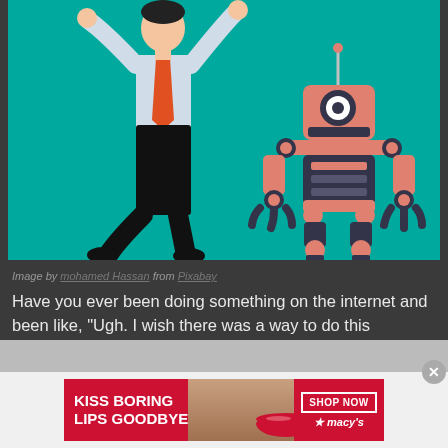[Figure (illustration): Illustration on teal/green background showing a man in business shirt with orange tie jumping/startled, next to a pink/salmon colored bipedal robot with a round head and spotlight eye]
Image by mohamed Hassan from Pixabay
Have you ever been doing something on the internet and been like, "Ugh. I wish there was a way to do this automatically." Well, most of the time there is: you can
[Figure (photo): Advertisement banner: KISS BORING LIPS GOODBYE with a woman's face showing red lips, SHOP NOW button and macys star logo]